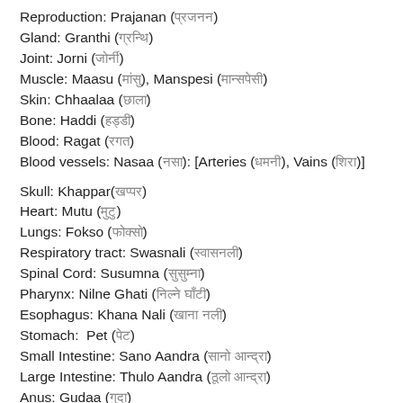Reproduction: Prajanan (xxxxxxx)
Gland: Granthi (xxxxxxx)
Joint: Jorni (xxxxxx)
Muscle: Maasu (xxxxx), Manspesi (xxxxxxxxx)
Skin: Chhaalaa (xxxxx)
Bone: Haddi (xxxxxx)
Blood: Ragat (xxx)
Blood vessels: Nasaa (xxx): [Arteries (xxxxx), Vains (xxxxx)]
Skull: Khappar(xxxxxx)
Heart: Mutu (xxxxx)
Lungs: Fokso (xxxxxxx)
Respiratory tract: Swasnali (xxxxxxxx)
Spinal Cord: Susumna (xxxxxxxx)
Pharynx: Nilne Ghati (xxxxxxx xxxxxx)
Esophagus: Khana Nali (xxxxx xxx)
Stomach: Pet (xxx)
Small Intestine: Sano Aandra (xxxxx xxxxxxxx)
Large Intestine: Thulo Aandra (xxxxx xxxxxxxx)
Anus: Gudaa (xxxxx)
Liver: Kalego (xxxxxx) [Hi:xxxxx]
Pancreas: Agnyashaya (xxxxxxxxxx)